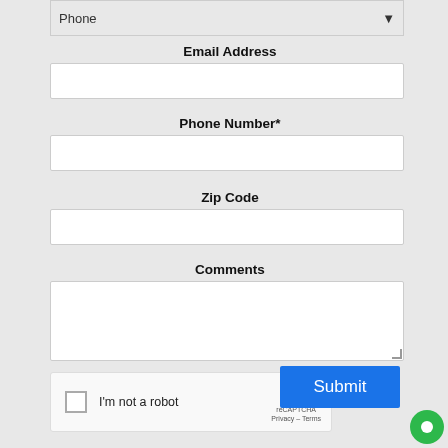Phone
Email Address
Phone Number*
Zip Code
Comments
[Figure (screenshot): reCAPTCHA widget with checkbox labeled I'm not a robot, reCAPTCHA logo, Privacy and Terms links]
Submit